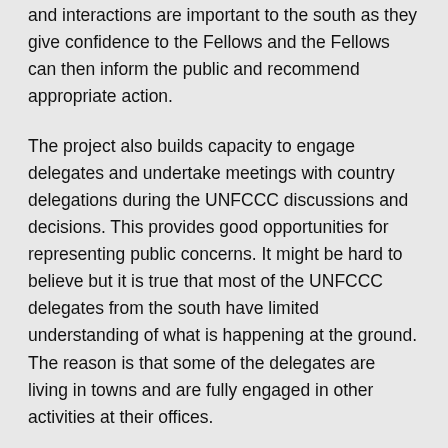and interactions are important to the south as they give confidence to the Fellows and the Fellows can then inform the public and recommend appropriate action.
The project also builds capacity to engage delegates and undertake meetings with country delegations during the UNFCCC discussions and decisions. This provides good opportunities for representing public concerns. It might be hard to believe but it is true that most of the UNFCCC delegates from the south have limited understanding of what is happening at the ground. The reason is that some of the delegates are living in towns and are fully engaged in other activities at their offices.
It is undoubtedly true that the programme is costlly. However, the harmful impacts of climate change are already beyond the means for mitigation and adapatation in the south. Furthermore, when aid is given through one window, it seems as if half of it is always taken back via another. So thanks to CAN for investing in bridging the